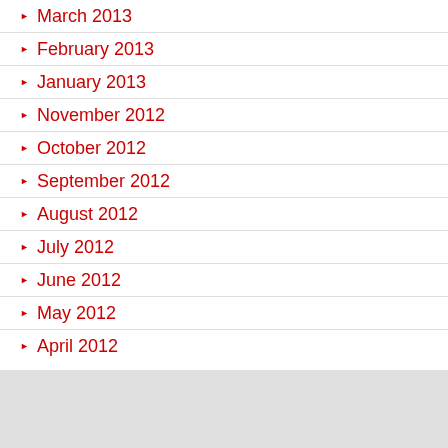March 2013
February 2013
January 2013
November 2012
October 2012
September 2012
August 2012
July 2012
June 2012
May 2012
April 2012